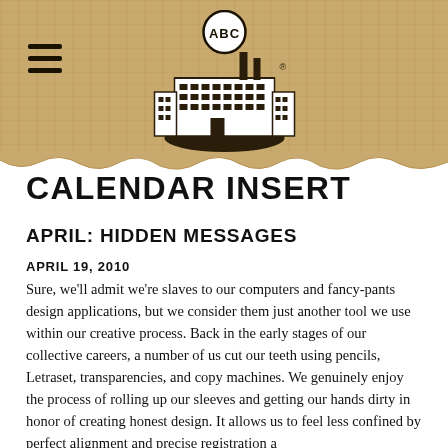[Figure (logo): ABC logo with illustrated factory/industrial building and ABC text in a circle badge on top. Hamburger menu icon to the left on kraft paper textured background.]
CALENDAR INSERT
APRIL: HIDDEN MESSAGES
APRIL 19, 2010
Sure, we'll admit we're slaves to our computers and fancy-pants design applications, but we consider them just another tool we use within our creative process. Back in the early stages of our collective careers, a number of us cut our teeth using pencils, Letraset, transparencies, and copy machines. We genuinely enjoy the process of rolling up our sleeves and getting our hands dirty in honor of creating honest design. It allows us to feel less confined by perfect alignment and precise registration a